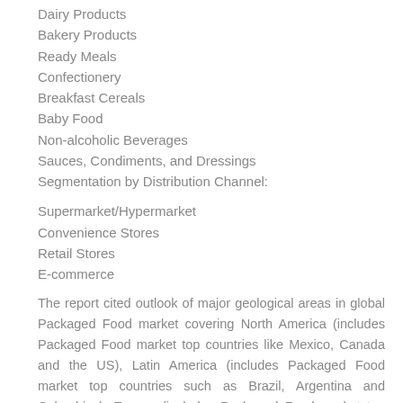Dairy Products
Bakery Products
Ready Meals
Confectionery
Breakfast Cereals
Baby Food
Non-alcoholic Beverages
Sauces, Condiments, and Dressings
Segmentation by Distribution Channel:
Supermarket/Hypermarket
Convenience Stores
Retail Stores
E-commerce
The report cited outlook of major geological areas in global Packaged Food market covering North America (includes Packaged Food market top countries like Mexico, Canada and the US), Latin America (includes Packaged Food market top countries such as Brazil, Argentina and Colombia ), Europe (includes Packaged Food market top countries like Russia, UK, France, Germany and Italy), Asia-Pacific (includes Packaged Food market top countries such